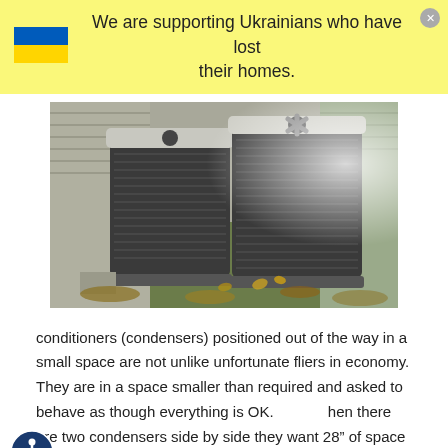We are supporting Ukrainians who have lost their homes.
[Figure (photo): Two outdoor air conditioning condensers (HVAC units) side by side against a house exterior, surrounded by fallen autumn leaves on the ground.]
conditioners (condensers) positioned out of the way in a small space are not unlike unfortunate fliers in economy. They are in a space smaller than required and asked to behave as though everything is OK. When there are two condensers side by side they want 28" of space (yes, like leg room) between them,